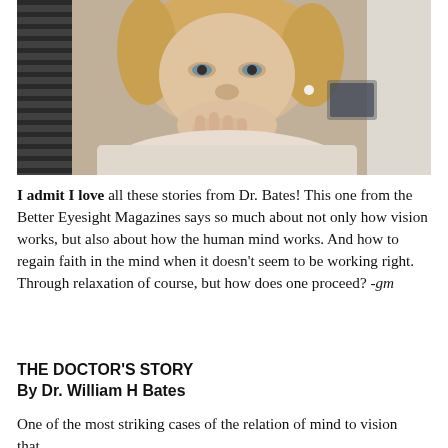[Figure (photo): A middle-aged woman with blonde hair resting her chin on her hand, looking pensively at a computer screen. Venetian blinds visible in the background on the left side.]
I admit I love all these stories from Dr. Bates! This one from the Better Eyesight Magazines says so much about not only how vision works, but also about how the human mind works. And how to regain faith in the mind when it doesn't seem to be working right. Through relaxation of course, but how does one proceed? -gm
THE DOCTOR'S STORY
By Dr. William H Bates
One of the most striking cases of the relation of mind to vision that…